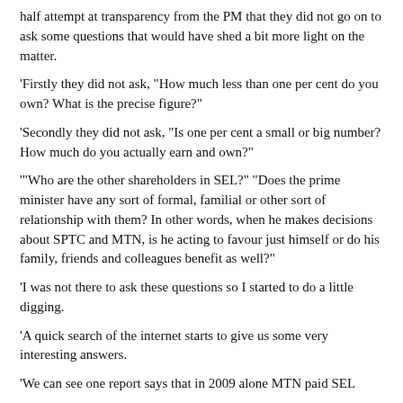half attempt at transparency from the PM that they did not go on to ask some questions that would have shed a bit more light on the matter.
‘Firstly they did not ask, “How much less than one per cent do you own? What is the precise figure?”
‘Secondly they did not ask, “Is one per cent a small or big number? How much do you actually earn and own?”
‘“Who are the other shareholders in SEL?” “Does the prime minister have any sort of formal, familial or other sort of relationship with them? In other words, when he makes decisions about SPTC and MTN, is he acting to favour just himself or do his family, friends and colleagues benefit as well?”
‘I was not there to ask these questions so I started to do a little digging.
‘A quick search of the internet starts to give us some very interesting answers.
‘We can see one report says that in 2009 alone MTN paid SEL over 55 million. For a per cent of its profits